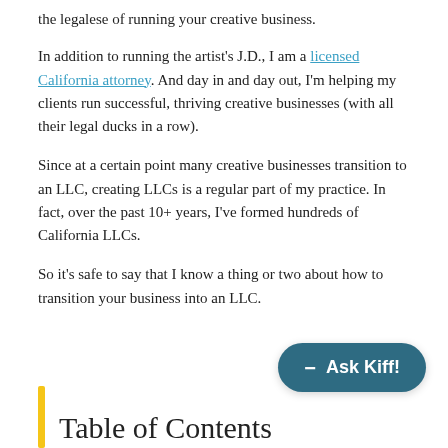the legalese of running your creative business.
In addition to running the artist's J.D., I am a licensed California attorney. And day in and day out, I'm helping my clients run successful, thriving creative businesses (with all their legal ducks in a row).
Since at a certain point many creative businesses transition to an LLC, creating LLCs is a regular part of my practice. In fact, over the past 10+ years, I've formed hundreds of California LLCs.
So it's safe to say that I know a thing or two about how to transition your business into an LLC.
Table of Contents